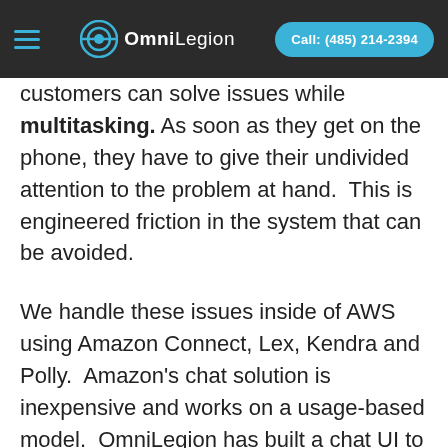OmniLegion | Call: (485) 214-2394
customers can solve issues while multitasking. As soon as they get on the phone, they have to give their undivided attention to the problem at hand. This is engineered friction in the system that can be avoided.
We handle these issues inside of AWS using Amazon Connect, Lex, Kendra and Polly. Amazon's chat solution is inexpensive and works on a usage-based model. OmniLegion has built a chat UI to simplify deploying chat on your website called ChatBox. You can literally have a chatbot up and running on your website in minutes. By orchestrating your conversations with Amazon Connect, you can deploy a multi-